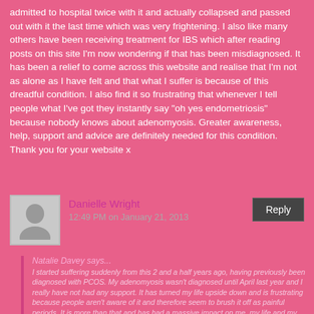admitted to hospital twice with it and actually collapsed and passed out with it the last time which was very frightening. I also like many others have been receiving treatment for IBS which after reading posts on this site I'm now wondering if that has been misdiagnosed. It has been a relief to come across this website and realise that I'm not as alone as I have felt and that what I suffer is because of this dreadful condition. I also find it so frustrating that whenever I tell people what I've got they instantly say "oh yes endometriosis" because nobody knows about adenomyosis. Greater awareness, help, support and advice are definitely needed for this condition. Thank you for your website x
Danielle Wright
12:49 PM on January 21, 2013
Natalie Davey says... I started suffering suddenly from this 2 and a half years ago, having previously been diagnosed with PCOS. My adenomyosis wasn't diagnosed until April last year and I really have not had any support. It has turned my life upside down and is frustrating because people aren't aware of it and therefore seem to brush it off as painful periods. It is more than that and has had a massive impact on me, my life and my family. I have been urgently admitted to hospital twice with it and actually collapsed and passed out with it the last time which was very frightening. I also like many others have been receiving treatment for IBS which after reading posts on this site I am now wondering if that has been misdiagnosed. It has been a relief to come across this website and realise that I'm not as alone as I have felt and that what I suffer is because of this dreadful condition. I also find it so frustrating that whenever I tell people what I've got they instantly say "oh yes endometriosis" because nobody knows about adenomyosis. Greater awareness, help, support and advice are definitely needed for this condition. Thank you for your website x